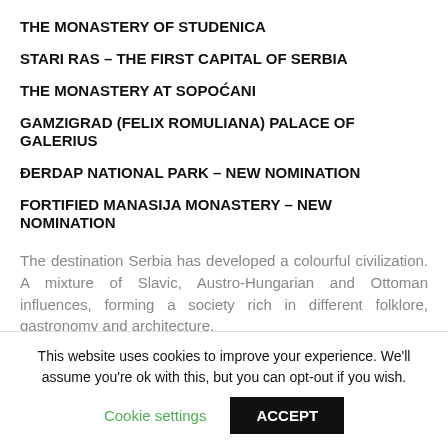THE MONASTERY OF STUDENICA
STARI RAS – THE FIRST CAPITAL OF SERBIA
THE MONASTERY AT SOPOĆANI
GAMZIGRAD (FELIX ROMULIANA) PALACE OF GALERIUS
ĐERDAP NATIONAL PARK – NEW NOMINATION
FORTIFIED MANASIJA MONASTERY – NEW NOMINATION
The destination Serbia has developed a colourful civilization. A mixture of Slavic, Austro-Hungarian and Ottoman influences, forming a society rich in different folklore, gastronomy and architecture.
For centuries, Serbia has been a homeland for Serbs and
This website uses cookies to improve your experience. We'll assume you're ok with this, but you can opt-out if you wish.
Cookie settings   ACCEPT